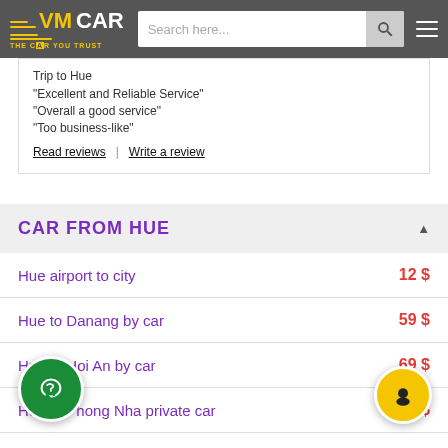VM CAR — THE CAR YOU TRUST | Search here...
Trip to Hue
"Excellent and Reliable Service"
"Overall a good service"
"Too business-like"
Read reviews | Write a review
CAR FROM HUE
Hue airport to city	12 $
Hue to Danang by car	59 $
Hue to Hoi An by car	69 $
Hue to Phong Nha private car	100 $
Hue to Dong Hoi by private car	90 $